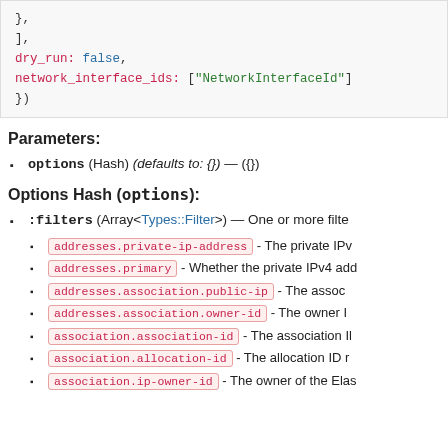[Figure (screenshot): Code block showing Ruby/DSL snippet with dry_run: false and network_interface_ids: ['NetworkInterfaceId'] syntax]
Parameters:
options (Hash) (defaults to: {}) — ({})
Options Hash (options):
:filters (Array<Types::Filter>) — One or more filte
addresses.private-ip-address - The private IPv
addresses.primary - Whether the private IPv4 add
addresses.association.public-ip - The assoc
addresses.association.owner-id - The owner I
association.association-id - The association Il
association.allocation-id - The allocation ID r
association.ip-owner-id - The owner of the Elas